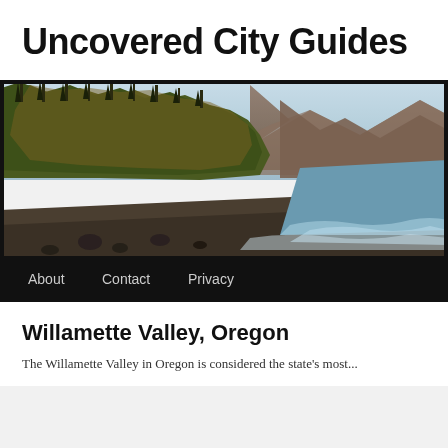Uncovered City Guides
[Figure (photo): Scenic Oregon coastal landscape with forested cliffs, a dark sand beach, ocean waves, and mountains in the background at sunset/golden hour. Navigation bar below with links: About, Contact, Privacy.]
Willamette Valley, Oregon
The Willamette Valley in Oregon is considered the state's most...